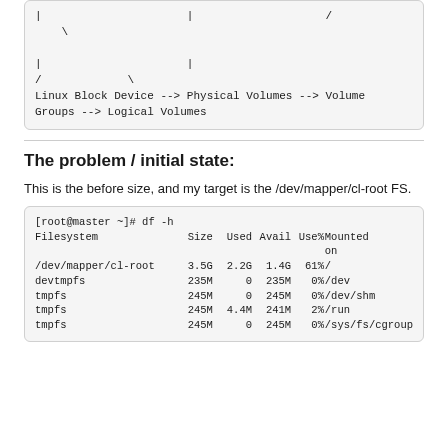[Figure (other): Code block showing ASCII diagram continuation with lines: | | / \ | | / \ Linux Block Device --> Physical Volumes --> Volume Groups --> Logical Volumes]
The problem / initial state:
This is the before size, and my target is the /dev/mapper/cl-root FS.
| Filesystem | Size | Used | Avail | Use% | Mounted on |
| --- | --- | --- | --- | --- | --- |
| [root@master ~]# df -h |  |  |  |  |  |
| /dev/mapper/cl-root | 3.5G | 2.2G | 1.4G | 61% | / |
| devtmpfs | 235M | 0 | 235M | 0% | /dev |
| tmpfs | 245M | 0 | 245M | 0% | /dev/shm |
| tmpfs | 245M | 4.4M | 241M | 2% | /run |
| tmpfs | 245M | 0 | 245M | 0% | /sys/fs/cgroup |